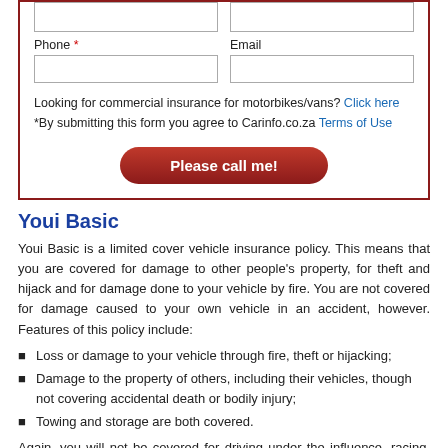[Form fields: Phone *, Email with input boxes]
Looking for commercial insurance for motorbikes/vans? Click here
*By submitting this form you agree to Carinfo.co.za Terms of Use
Please call me!
Youi Basic
Youi Basic is a limited cover vehicle insurance policy. This means that you are covered for damage to other people's property, for theft and hijack and for damage done to your vehicle by fire. You are not covered for damage caused to your own vehicle in an accident, however. Features of this policy include:
Loss or damage to your vehicle through fire, theft or hijacking;
Damage to the property of others, including their vehicles, though not covering accidental death or bodily injury;
Towing and storage are both covered.
Again, you will not be covered for driving under the influence, racing, driving without a valid license or leaving the scene of an accident. In addition, you can add optional benefits (at extra cost). These options are the same as the ones for the comprehensive policy, but do not include vehicle finance shortfall.